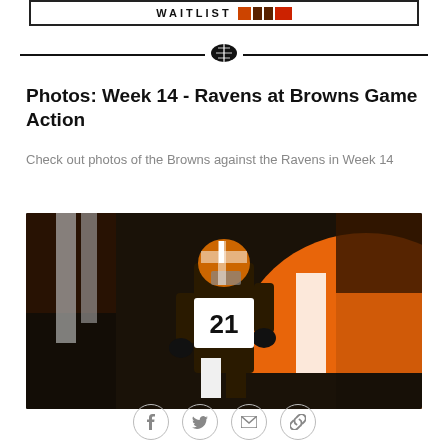WAITLIST
Photos: Week 14 - Ravens at Browns Game Action
Check out photos of the Browns against the Ravens in Week 14
[Figure (photo): Cleveland Browns player wearing jersey number 21 running through tunnel with pyrotechnics and inflatable Browns helmet in background, pre-game entrance]
[Figure (infographic): Social media share icons: Facebook, Twitter, Email, and Link]